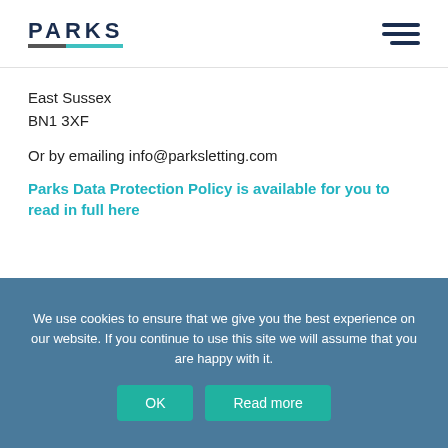PARKS
East Sussex
BN1 3XF
Or by emailing info@parksletting.com
Parks Data Protection Policy is available for you to read in full here
Voted Gold    Voted Bronze
We use cookies to ensure that we give you the best experience on our website. If you continue to use this site we will assume that you are happy with it.